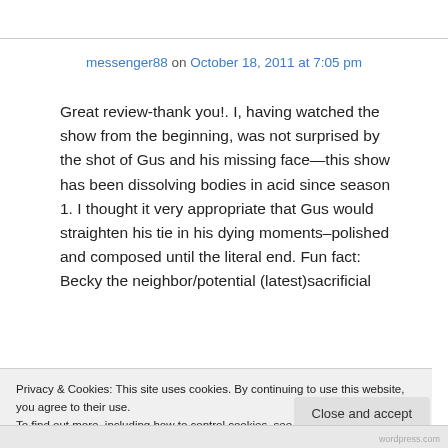messenger88 on October 18, 2011 at 7:05 pm
Great review-thank you!. I, having watched the show from the beginning, was not surprised by the shot of Gus and his missing face—this show has been dissolving bodies in acid since season 1. I thought it very appropriate that Gus would straighten his tie in his dying moments–polished and composed until the literal end. Fun fact: Becky the neighbor/potential (latest)sacrificial
Privacy & Cookies: This site uses cookies. By continuing to use this website, you agree to their use.
To find out more, including how to control cookies, see here: Cookie Policy
Close and accept